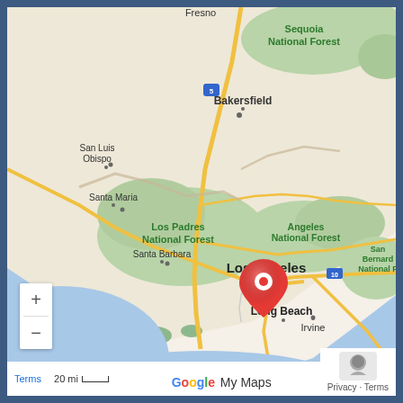[Figure (map): Google My Maps screenshot showing Southern California coast including Sequoia National Forest, Bakersfield, San Luis Obispo, Santa Maria, Los Padres National Forest, Santa Barbara, Angeles National Forest, Los Angeles, Long Beach, Irvine, San Diego, and San Bernardino National Forest. A red map pin marker is placed near Long Beach/Los Angeles area. Map shows terrain with green forested areas, blue ocean/Pacific coast, and yellow highways including Interstate 5 and Interstate 10.]